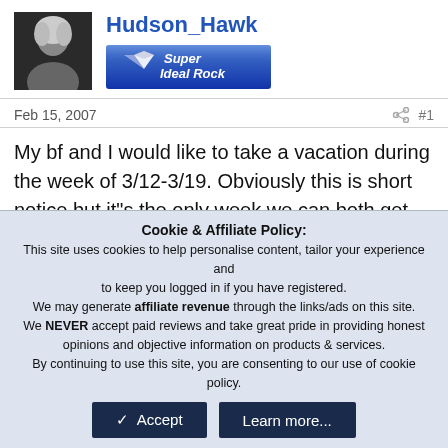[Figure (photo): Avatar photo of Hudson_Hawk user, black and white portrait]
Hudson_Hawk
[Figure (logo): Super Ideal Rock badge - blue gradient banner with diamond logo]
Feb 15, 2007   #1
My bf and I would like to take a vacation during the week of 3/12-3/19. Obviously this is short notice but it"s the only week we can both get time off from work. Our budget is about $3000 including airfare. We"re open to cruising or going to a resort but would like the resort to be all-inclusive. Oh and we"d like
Cookie & Affiliate Policy:
This site uses cookies to help personalise content, tailor your experience and to keep you logged in if you have registered.
We may generate affiliate revenue through the links/ads on this site.
We NEVER accept paid reviews and take great pride in providing honest opinions and objective information on products & services.
By continuing to use this site, you are consenting to our use of cookie policy.
Accept   Learn more...